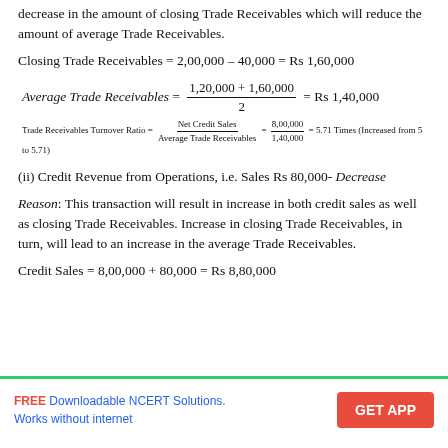decrease in the amount of closing Trade Receivables which will reduce the amount of average Trade Receivables.
Closing Trade Receivables = 2,00,000 – 40,000 = Rs 1,60,000
(ii) Credit Revenue from Operations, i.e. Sales Rs 80,000- Decrease
Reason: This transaction will result in increase in both credit sales as well as closing Trade Receivables. Increase in closing Trade Receivables, in turn, will lead to an increase in the average Trade Receivables.
Credit Sales = 8,00,000 + 80,000 = Rs 8,80,000
FREE Downloadable NCERT Solutions. Works without internet  GET APP